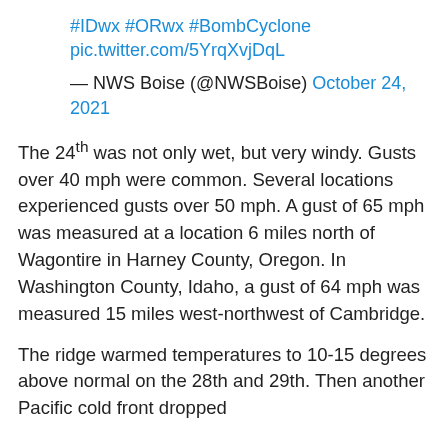#IDwx #ORwx #BombCyclone pic.twitter.com/5YrqXvjDqL
— NWS Boise (@NWSBoise) October 24, 2021
The 24th was not only wet, but very windy. Gusts over 40 mph were common. Several locations experienced gusts over 50 mph. A gust of 65 mph was measured at a location 6 miles north of Wagontire in Harney County, Oregon. In Washington County, Idaho, a gust of 64 mph was measured 15 miles west-northwest of Cambridge.
The ridge warmed temperatures to 10-15 degrees above normal on the 28th and 29th. Then another Pacific cold front dropped